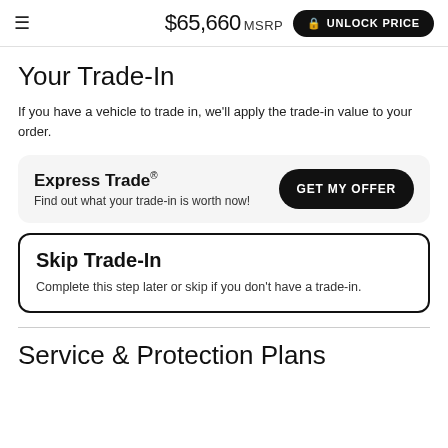$65,660 MSRP  UNLOCK PRICE
Your Trade-In
If you have a vehicle to trade in, we'll apply the trade-in value to your order.
Express Trade®  GET MY OFFER  Find out what your trade-in is worth now!
Skip Trade-In  Complete this step later or skip if you don't have a trade-in.
Service & Protection Plans